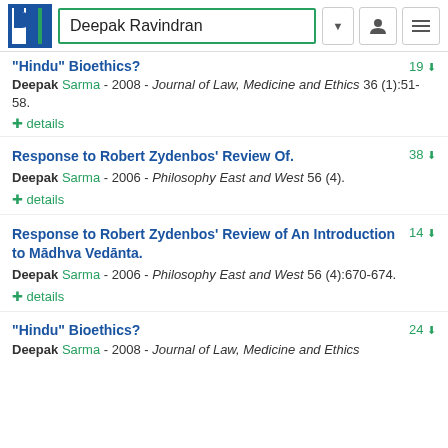Deepak Ravindran
"Hindu" Bioethics? — 19 — Deepak Sarma - 2008 - Journal of Law, Medicine and Ethics 36 (1):51-58. + details
Response to Robert Zydenbos' Review Of. — 38 — Deepak Sarma - 2006 - Philosophy East and West 56 (4). + details
Response to Robert Zydenbos' Review of An Introduction to Mādhva Vedānta. — 14 — Deepak Sarma - 2006 - Philosophy East and West 56 (4):670-674. + details
"Hindu" Bioethics? — 24 — Deepak Sarma - 2008 - Journal of Law, Medicine and Ethics